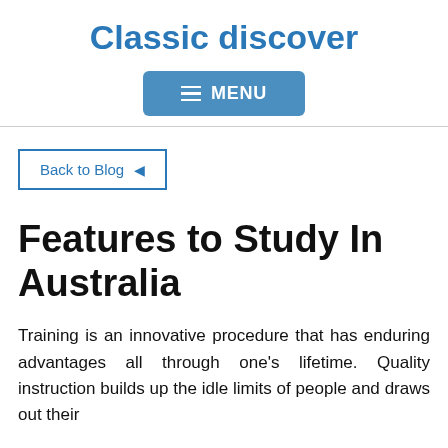Classic discover
[Figure (other): Navigation menu button with hamburger icon and text MENU on blue rounded rectangle background]
Back to Blog ←
Features to Study In Australia
Training is an innovative procedure that has enduring advantages all through one's lifetime. Quality instruction builds up the idle limits of people and draws out their